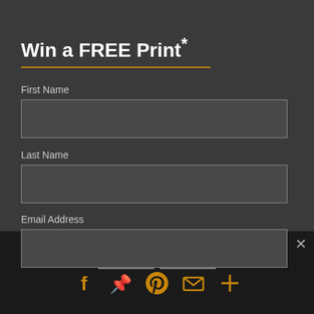Win a FREE Print*
First Name
Last Name
Email Address
We use cookies to ensure that we give you the best experience on our website. For more information, check out our Privacy Policy
[Figure (infographic): Social sharing icons: Facebook, Pinterest, Email, More (plus sign) in orange/gold color]